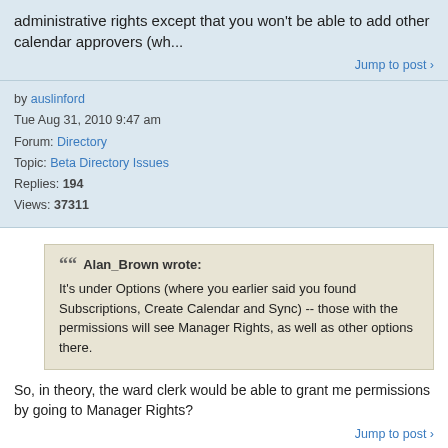administrative rights except that you won't be able to add other calendar approvers (wh...
Jump to post >
by auslinford
Tue Aug 31, 2010 9:47 am
Forum: Directory
Topic: Beta Directory Issues
Replies: 194
Views: 37311
Alan_Brown wrote:
It's under Options (where you earlier said you found Subscriptions, Create Calendar and Sync) -- those with the permissions will see Manager Rights, as well as other options there.
So, in theory, the ward clerk would be able to grant me permissions by going to Manager Rights?
Jump to post >
by auslinford
Tue Aug 31, 2010 9:06 am
Forum: Directory
Topic: Beta Directory Issues
Replies: 194
Views: 37311